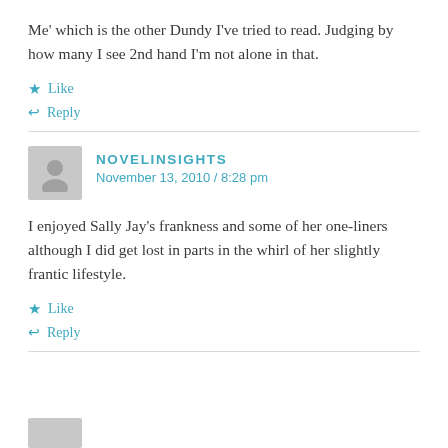Me' which is the other Dundy I've tried to read. Judging by how many I see 2nd hand I'm not alone in that.
★ Like
↩ Reply
NOVELINSIGHTS
November 13, 2010 / 8:28 pm
I enjoyed Sally Jay's frankness and some of her one-liners although I did get lost in parts in the whirl of her slightly frantic lifestyle.
★ Like
↩ Reply